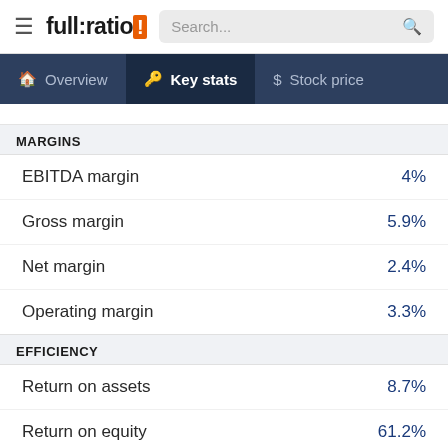full:ratio | Key stats
MARGINS
| Metric | Value |
| --- | --- |
| EBITDA margin | 4% |
| Gross margin | 5.9% |
| Net margin | 2.4% |
| Operating margin | 3.3% |
EFFICIENCY
| Metric | Value |
| --- | --- |
| Return on assets | 8.7% |
| Return on equity | 61.2% |
| Return on invested capital | 10.9% |
| Return on capital employed | 13.6% |